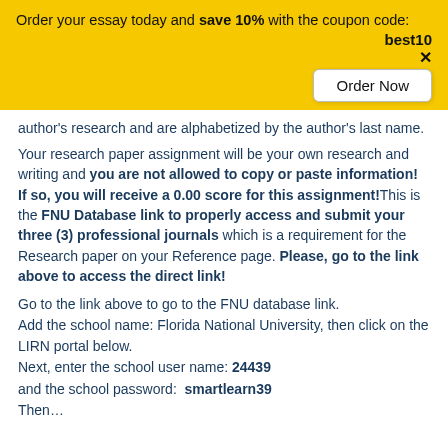Order your essay today and save 10% with the coupon code: best10
author's research and are alphabetized by the author's last name.
Your research paper assignment will be your own research and writing and you are not allowed to copy or paste information! If so, you will receive a 0.00 score for this assignment! This is the FNU Database link to properly access and submit your three (3) professional journals which is a requirement for the Research paper on your Reference page. Please, go to the link above to access the direct link!
Go to the link above to go to the FNU database link.
Add the school name: Florida National University, then click on the LIRN portal below.
Next, enter the school user name: 24439
and the school password: smartlearn39
Then…